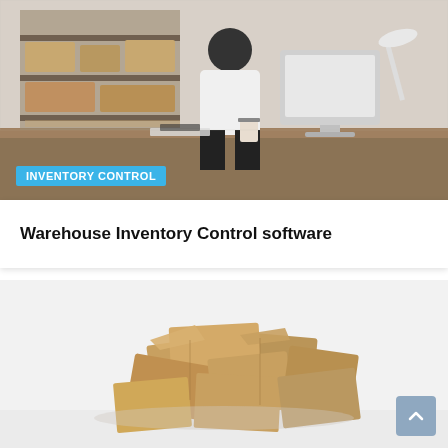[Figure (photo): Woman in white t-shirt and cap sitting at a desk with a large computer monitor, working. Behind her are metal shelving units stacked with cardboard boxes in what appears to be a warehouse or small business storage area.]
INVENTORY CONTROL
Warehouse Inventory Control software
[Figure (photo): A pile of open and closed cardboard boxes scattered on a white floor against a white background, suggesting unorganized warehouse inventory.]